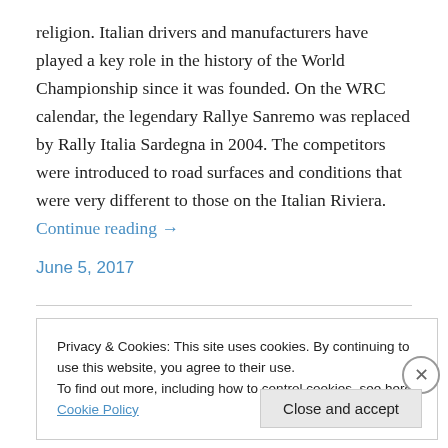religion. Italian drivers and manufacturers have played a key role in the history of the World Championship since it was founded. On the WRC calendar, the legendary Rallye Sanremo was replaced by Rally Italia Sardegna in 2004. The competitors were introduced to road surfaces and conditions that were very different to those on the Italian Riviera. Continue reading →
June 5, 2017
Privacy & Cookies: This site uses cookies. By continuing to use this website, you agree to their use.
To find out more, including how to control cookies, see here: Cookie Policy